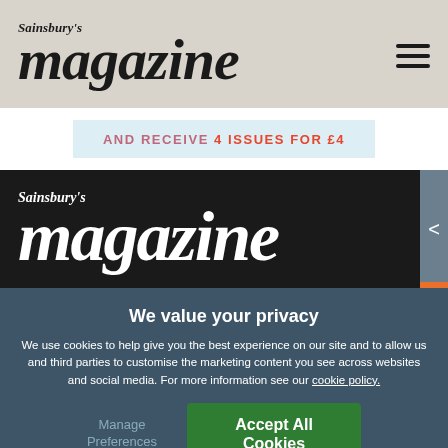[Figure (logo): Sainsbury's magazine logo in dark serif italic font on grey background, with hamburger menu icon top right]
AND RECEIVE 4 ISSUES FOR £4
[Figure (logo): Sainsbury's magazine logo in white serif italic font on black background, with grey arrow button on right]
We value your privacy
We use cookies to help give you the best experience on our site and to allow us and third parties to customise the marketing content you see across websites and social media. For more information see our cookie policy.
Manage Preferences
Accept All Cookies